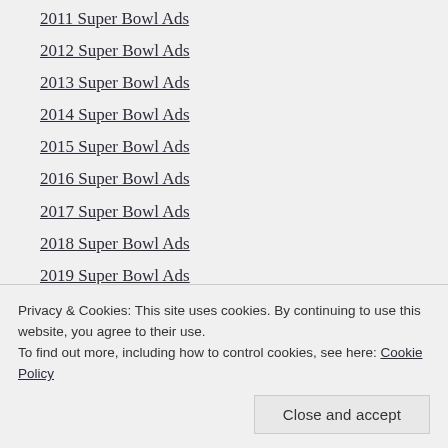2011 Super Bowl Ads
2012 Super Bowl Ads
2013 Super Bowl Ads
2014 Super Bowl Ads
2015 Super Bowl Ads
2016 Super Bowl Ads
2017 Super Bowl Ads
2018 Super Bowl Ads
2019 Super Bowl Ads
2020 Super Bowl Ads
Privacy & Cookies: This site uses cookies. By continuing to use this website, you agree to their use. To find out more, including how to control cookies, see here: Cookie Policy
Close and accept